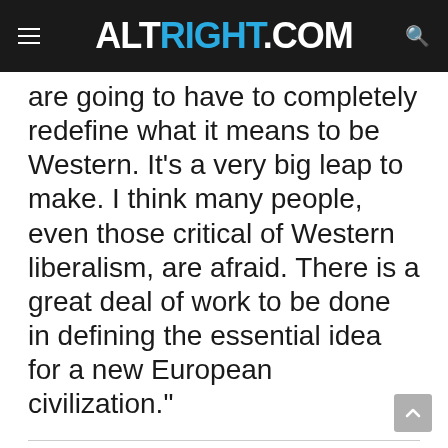ALTRIGHT.COM
are going to have to completely redefine what it means to be Western. It’s a very big leap to make. I think many people, even those critical of Western liberalism, are afraid. There is a great deal of work to be done in defining the essential idea for a new European civilization.”
The follow is an interview with a gifted young mind that was originally run at the Swedish